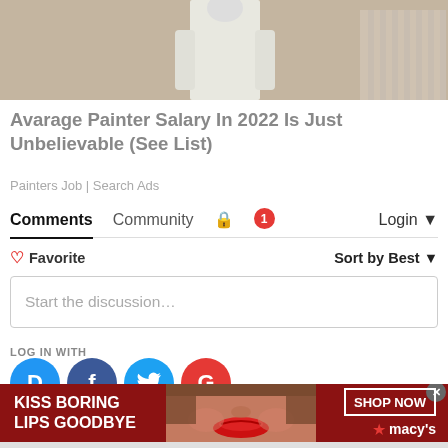[Figure (photo): Partial view of a painter in white clothing/overalls, cropped at top]
Avarage Painter Salary In 2022 Is Just Unbelievable (See List)
Painters Job | Search Ads
Comments  Community  🔒  🔴1  Login ▾
♡ Favorite    Sort by Best ▾
Start the discussion...
LOG IN WITH
[Figure (logo): Social login icons: Disqus (D blue circle), Facebook (f dark blue circle), Twitter (bird light blue circle), Google (G red circle)]
[Figure (photo): Macy's advertisement banner: red background, woman's face with red lips, text KISS BORING LIPS GOODBYE, SHOP NOW button, Macy's star logo]